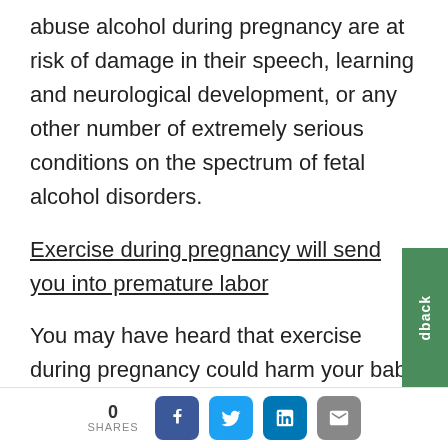abuse alcohol during pregnancy are at risk of damage in their speech, learning and neurological development, or any other number of extremely serious conditions on the spectrum of fetal alcohol disorders.
Exercise during pregnancy will send you into premature labor
You may have heard that exercise during pregnancy could harm your baby or cause premature birth. However, regular daily exercise can help you manage the common discomforts of pregnancy and increase your
0 SHARES